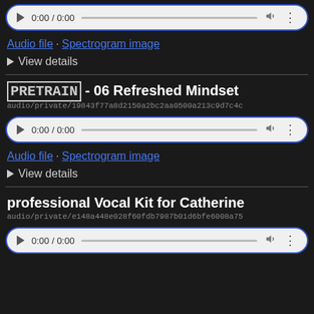[Figure (screenshot): Audio player widget with play button, time display 0:00/0:00, progress bar, volume and more icons. White rounded rectangle with blue border.]
Audio file · Spectrogram image
▶ View details
[PRETRAIN] - 06 Refreshed Mindset
audio/private/19843f77a8d2150a2bc2aa0500a213c9d7c4c...
[Figure (screenshot): Audio player widget with play button, time display 0:00/0:00, progress bar, volume and more icons. White rounded rectangle with blue border.]
Audio file · Spectrogram image
▶ View details
professional Vocal Kit for Catherine
audio/private/e148a448e028f60fdb7987b01d6bfe6008a75...
[Figure (screenshot): Audio player widget with play button, time display 0:00/0:00, progress bar, volume and more icons. White rounded rectangle with blue border.]